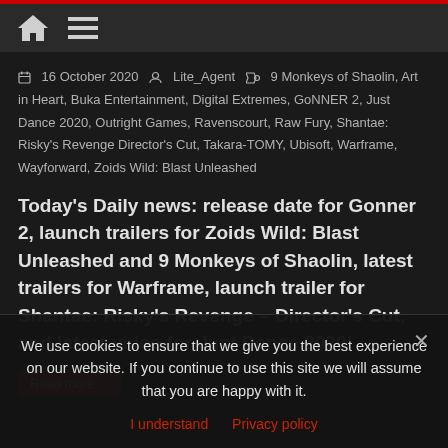Navigation bar with home icon and menu icon
16 October 2020  Lite_Agent  9 Monkeys of Shaolin, Art in Heart, Buka Entertainment, Digital Extremes, GoNNER 2, Just Dance 2020, Outright Games, Ravenscourt, Raw Fury, Shantae: Risky's Revenge Director's Cut, Takara-TOMY, Ubisoft, Warframe, Wayforward, Zoids Wild: Blast Unleashed
Today's Daily news: release date for Gonner 2, launch trailers for Zoids Wild: Blast Unleashed and 9 Monkeys of Shaolin, latest trailers for Warframe, launch trailer for Shantae: Risky's Revenge – Director's Cut, and latest video for Just Dance 2020!
Read more...
We use cookies to ensure that we give you the best experience on our website. If you continue to use this site we will assume that you are happy with it.
I understand  Privacy policy